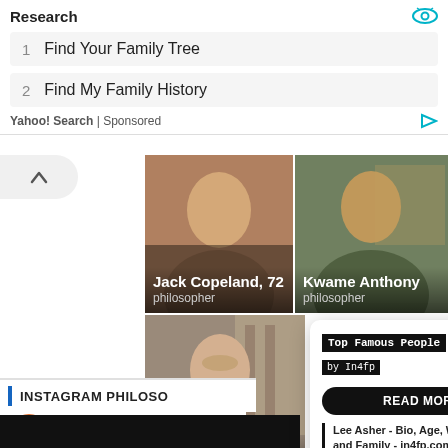Research
1  Find Your Family Tree
2  Find My Family History
Yahoo! Search | Sponsored
[Figure (photo): Jack Copeland, 72 - philosopher thumbnail photo]
[Figure (photo): Kwame Anthony - philosopher thumbnail photo]
[Figure (photo): Richard - philosopher thumbnail photo]
INSTAGRAM PHILOSO...
marty... 4.1M follo...
Top Famous People by In4fp
READ MORE
Lee Asher - Bio, Age, Wiki, Facts and Family - in4fp.com